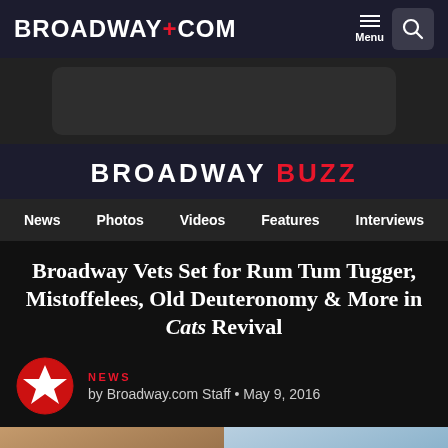BROADWAY.COM
[Figure (screenshot): Broadway Buzz website navigation and article header screenshot showing logo, menu, ad banner, category nav, article title, and byline]
BROADWAY BUZZ
News  Photos  Videos  Features  Interviews
Broadway Vets Set for Rum Tum Tugger, Mistoffelees, Old Deuteronomy & More in Cats Revival
NEWS
by Broadway.com Staff • May 9, 2016